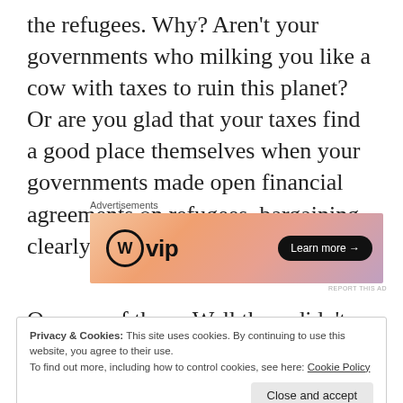the refugees. Why? Aren't your governments who milking you like a cow with taxes to ruin this planet? Or are you glad that your taxes find a good place themselves when your governments made open financial agreements on refugees, bargaining clearly on human life?
[Figure (other): WordPress VIP advertisement banner with gradient orange/pink background and 'Learn more' button]
Or none of them. Well then, didn't you then
Privacy & Cookies: This site uses cookies. By continuing to use this website, you agree to their use.
To find out more, including how to control cookies, see here: Cookie Policy
Close and accept
will continue as long as you vote for other